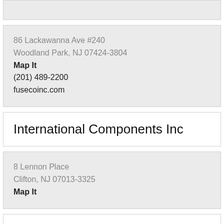86 Lackawanna Ave #240
Woodland Park, NJ 07424-3804
Map It
(201) 489-2200
fusecoinc.com
International Components Inc
8 Lennon Place
Clifton, NJ 07013-3325
Map It
J P Home Arama